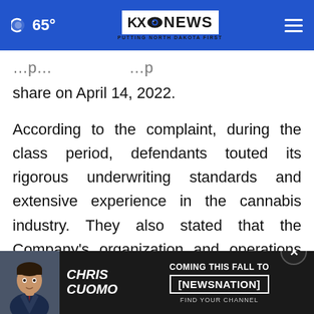KXO NEWS - PUTTING NORTH DAKOTA FIRST | 65°
share on April 14, 2022.
According to the complaint, during the class period, defendants touted its rigorous underwriting standards and extensive experience in the cannabis industry. They also stated that the Company's organization and operations qualify it to be taxed as a REIT for U.S federal income tax purposes. Notwithstanding, defendants failed to disclose that … are
[Figure (screenshot): Chris Cuomo Coming This Fall To NewsNation advertisement overlay banner at the bottom of the page]